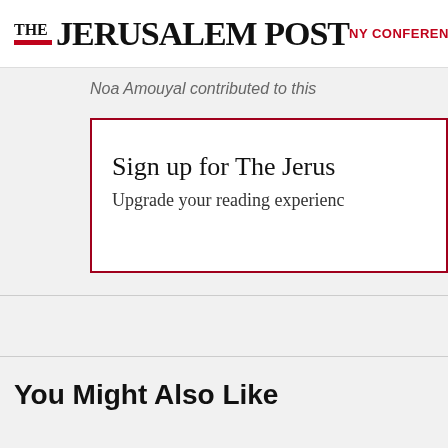THE JERUSALEM POST | NY CONFERENCE | ISRAEL
Noa Amouyal contributed to this
Sign up for The Jeru
Upgrade your reading experienc
You Might Also Like